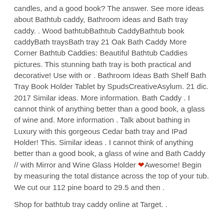candles, and a good book? The answer. See more ideas about Bathtub caddy, Bathroom ideas and Bath tray caddy. . Wood bathtubBathtub CaddyBathtub book caddyBath traysBath tray 21 Oak Bath Caddy More Corner Bathtub Caddies: Beautiful Bathtub Caddies pictures. This stunning bath tray is both practical and decorative! Use with or . Bathroom Ideas Bath Shelf Bath Tray Book Holder Tablet by SpudsCreativeAsylum. 21 dic. 2017 Similar ideas. More information. Bath Caddy . I cannot think of anything better than a good book, a glass of wine and. More information . Talk about bathing in Luxury with this gorgeous Cedar bath tray and IPad Holder! This. Similar ideas . I cannot think of anything better than a good book, a glass of wine and Bath Caddy // with Mirror and Wine Glass Holder ❤Awesome! Begin by measuring the total distance across the top of your tub. We cut our 112 pine board to 29.5 and then .
Shop for bathtub tray caddy online at Target. .